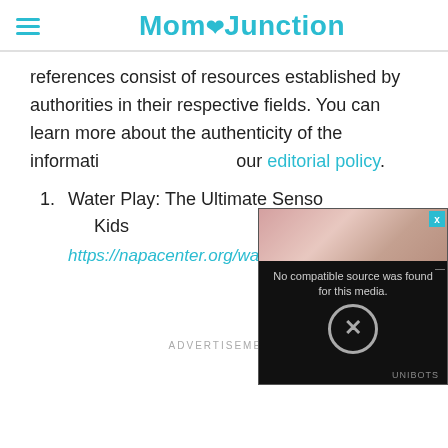MomJunction
references consist of resources established by authorities in their respective fields. You can learn more about the authenticity of the information we present in our editorial policy.
1. Water Play: The Ultimate Sensory Activity for Kids
https://napacenter.org/water-play/
[Figure (screenshot): Video player overlay showing 'No compatible source was found for this media.' with an X icon and UNIBOTS branding]
ADVERTISEMENT